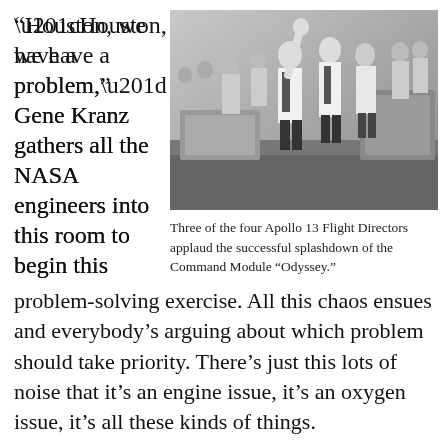“Houston, we have a problem,” Gene Kranz gathers all the NASA engineers into this room to begin this
[Figure (photo): Black and white photograph of three of the four Apollo 13 Flight Directors applauding the successful splashdown of the Command Module Odyssey. Men in white shirts are visible in the NASA mission control room.]
Three of the four Apollo 13 Flight Directors applaud the successful splashdown of the Command Module “Odyssey.”
problem-solving exercise. All this chaos ensues and everybody’s arguing about which problem should take priority. There’s just this lots of noise that it’s an engine issue, it’s an oxygen issue, it’s all these kinds of things.